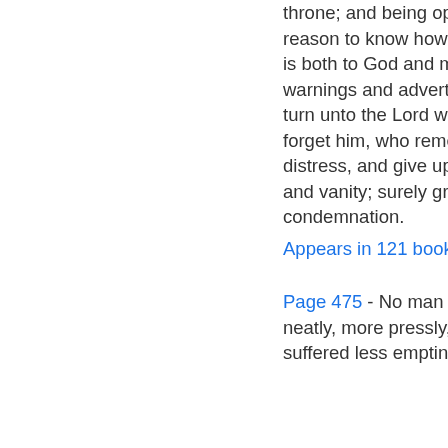throne; and being oppressed, thou hast reason to know how hateful the oppressor is both to God and man : If after all these warnings and advertisements, thou dost not turn unto the Lord with all thy heart, but forget him, who remembered thee in thy distress, and give up thyself to follow lust and vanity; surely great will be thy condemnation.
Appears in 121 books from 1733-2008
Page 475 - No man ever spoke more neatly, more pressly, more weightily, or suffered less emptiness, less idleness,